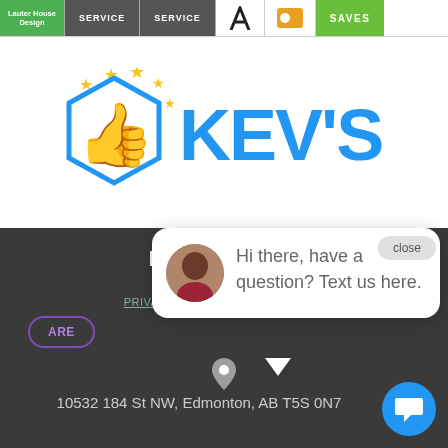Design | SERVICE | SERVICE | SAVES
[Figure (logo): Kev's Best logo with hexagon house outline, thumbs up icon, and stars]
Flaunt Interiors
Copyright © 2022
PRIVACY | DISCLAIMER | RETURNS
Hi there, have a question? Text us here.
close
10532 184 St NW, Edmonton, AB T5S 0N7